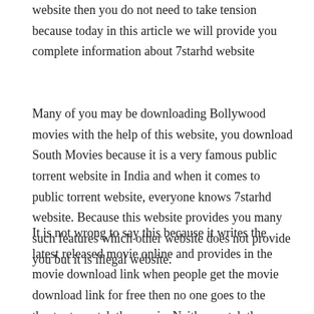website then you do not need to take tension because today in this article we will provide you complete information about 7starhd website
Many of you may be downloading Bollywood movies with the help of this website, you download South Movies because it is a very famous public torrent website in India and when it comes to public torrent website, everyone knows 7starhd website. Because this website provides you many such features which other website does not provide you but it is illegal website.
It is not wrong to say this because it writes the latest released movie online and provides in the movie download link when people get the movie download link for free then no one goes to the theater to watch the movie. Neither watch the movie with the help of online streaming platform because most of the people download it from public website which is illegal.